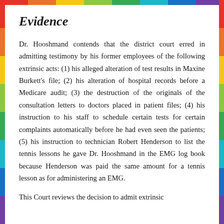Evidence
Dr. Hooshmand contends that the district court erred in admitting testimony by his former employees of the following extrinsic acts: (1) his alleged alteration of test results in Maxine Burkett's file; (2) his alteration of hospital records before a Medicare audit; (3) the destruction of the originals of the consultation letters to doctors placed in patient files; (4) his instruction to his staff to schedule certain tests for certain complaints automatically before he had even seen the patients; (5) his instruction to technician Robert Henderson to list the tennis lessons he gave Dr. Hooshmand in the EMG log book because Henderson was paid the same amount for a tennis lesson as for administering an EMG.
This Court reviews the decision to admit extrinsic